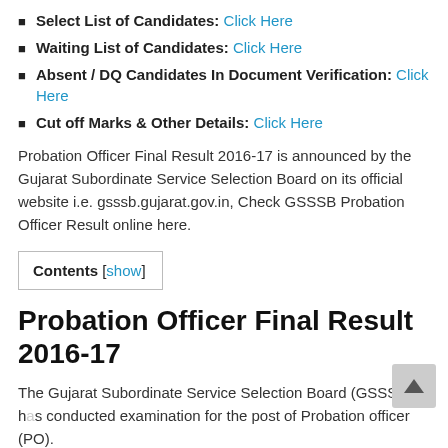Select List of Candidates: Click Here
Waiting List of Candidates: Click Here
Absent / DQ Candidates In Document Verification: Click Here
Cut off Marks & Other Details: Click Here
Probation Officer Final Result 2016-17 is announced by the Gujarat Subordinate Service Selection Board on its official website i.e. gsssb.gujarat.gov.in, Check GSSSB Probation Officer Result online here.
Contents [show]
Probation Officer Final Result 2016-17
The Gujarat Subordinate Service Selection Board (GSSSB) has conducted examination for the post of Probation officer (PO).